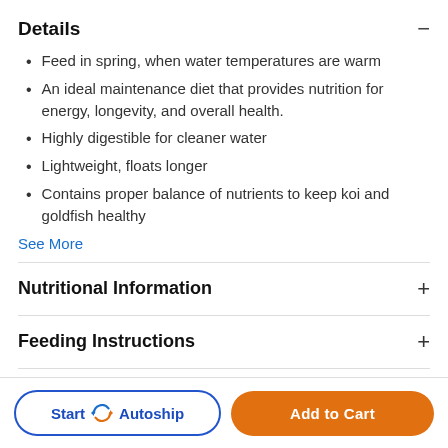Details
Feed in spring, when water temperatures are warm
An ideal maintenance diet that provides nutrition for energy, longevity, and overall health.
Highly digestible for cleaner water
Lightweight, floats longer
Contains proper balance of nutrients to keep koi and goldfish healthy
See More
Nutritional Information
Feeding Instructions
Start Autoship
Add to Cart